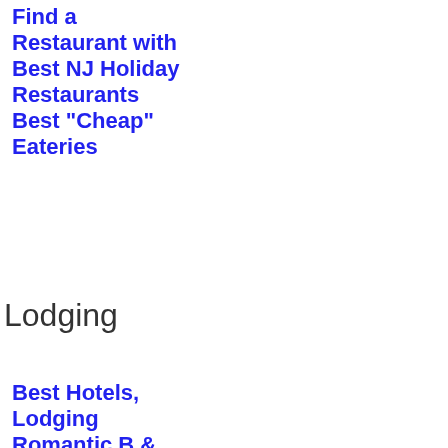Find a Restaurant with Best NJ Holiday Restaurants Best "Cheap" Eateries
Lodging
Best Hotels, Lodging Romantic B & B's Romantic Spa Hotels & Resorts Pet Friendly Hotels Best New Jersey Hotels With Fireplaces